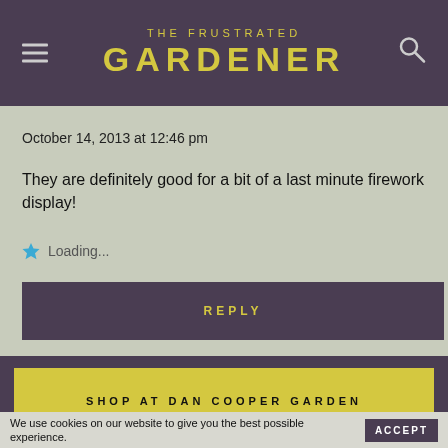THE FRUSTRATED GARDENER
October 14, 2013 at 12:46 pm
They are definitely good for a bit of a last minute firework display!
Loading...
REPLY
SHOP AT DAN COOPER GARDEN
We use cookies on our website to give you the best possible experience.
ACCEPT